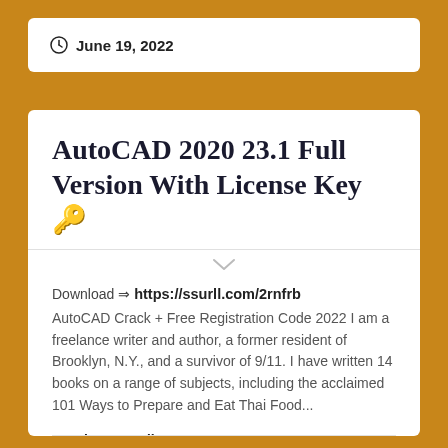June 19, 2022
AutoCAD 2020 23.1 Full Version With License Key 🔑
Download ⇒ https://ssurll.com/2rnfrb
AutoCAD Crack + Free Registration Code 2022 I am a freelance writer and author, a former resident of Brooklyn, N.Y., and a survivor of 9/11. I have written 14 books on a range of subjects, including the acclaimed 101 Ways to Prepare and Eat Thai Food...
Continue Reading →